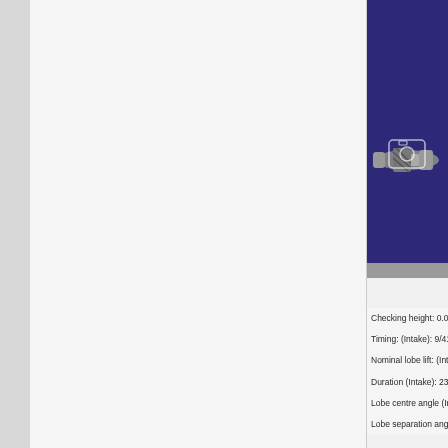[Figure (photo): Photo of a camshaft/gear component on a purple velvet background with a camera icon overlay]
Checking height: 0.017
Timing: (Intake): 9/41 (
Nominal lobe lift: (Intak
Duration (Intake): 230 (
Lobe centre angle (Inta
Lobe separation angle: